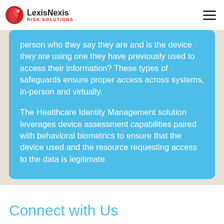LexisNexis Risk Solutions
person who they say they are and is the device they are using one they have previously used to access their information? These types of safeguards ensure proper access across systems, in-person and virtually.
The Healthcare Identity Management solution leverages device assessment capabilities paired with behavioral biometrics to ensure that the device used and the resource requesting access to the data is legitimate.
Connect with Us